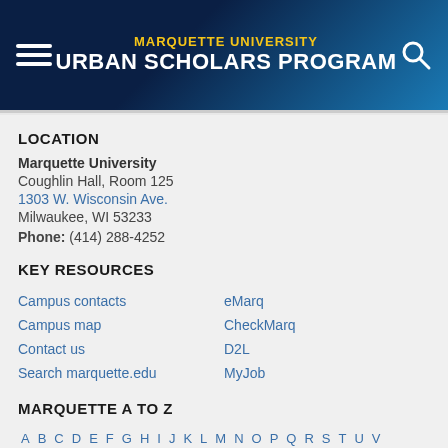MARQUETTE UNIVERSITY URBAN SCHOLARS PROGRAM
LOCATION
Marquette University
Coughlin Hall, Room 125
1303 W. Wisconsin Ave.
Milwaukee, WI 53233
Phone: (414) 288-4252
KEY RESOURCES
Campus contacts
Campus map
Contact us
Search marquette.edu
eMarq
CheckMarq
D2L
MyJob
MARQUETTE A TO Z
A B C D E F G H I J K L M N O P Q R S T U V